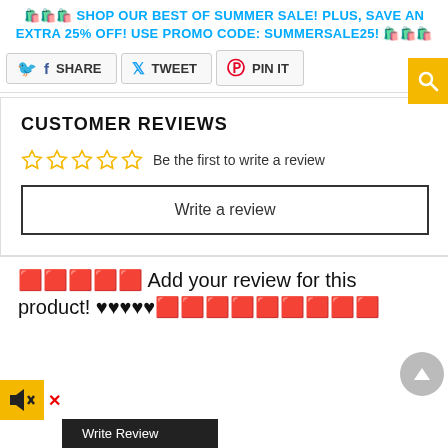🛍️🛍️🛍️ SHOP OUR BEST OF SUMMER SALE! PLUS, SAVE AN EXTRA 25% OFF! USE PROMO CODE: SUMMERSALE25! 🛍️🛍️🛍️
SHARE   TWEET   PIN IT
CUSTOMER REVIEWS
☆☆☆☆☆  Be the first to write a review
Write a review
🟥🟥🟥🟥🟥 Add your review for this product! ♥♥♥♥♥🟥🟥🟥🟥🟥🟥🟥🟥🟥
Write Review